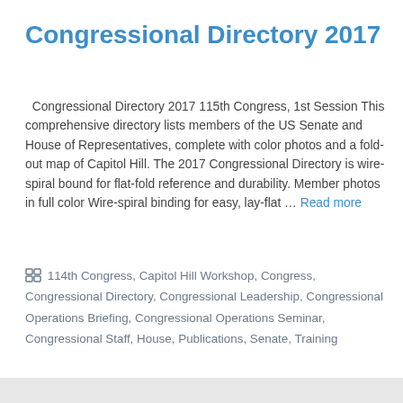Congressional Directory 2017
Congressional Directory 2017 115th Congress, 1st Session This comprehensive directory lists members of the US Senate and House of Representatives, complete with color photos and a fold-out map of Capitol Hill. The 2017 Congressional Directory is wire-spiral bound for flat-fold reference and durability. Member photos in full color Wire-spiral binding for easy, lay-flat … Read more
114th Congress, Capitol Hill Workshop, Congress, Congressional Directory, Congressional Leadership, Congressional Operations Briefing, Congressional Operations Seminar, Congressional Staff, House, Publications, Senate, Training